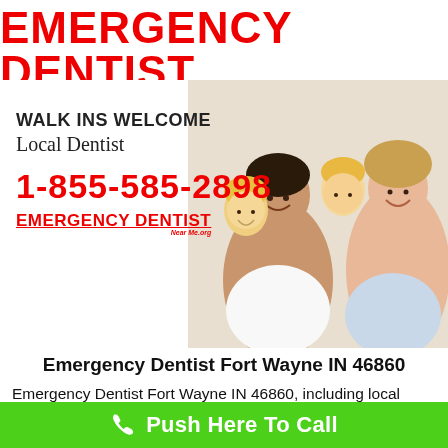EMERGENCY DENTIST NearMe.org
[Figure (photo): Happy family photo with father, two children on his back, and mother, all smiling]
WALK INS WELCOME
Local Dentist
1-855-585-2898
EMERGENCY DENTIST
Emergency Dentist Fort Wayne IN 46860
Emergency Dentist Fort Wayne IN 46860, including local dentist near me now, dental crown, dentures, and dental care. Local 24 hour emergency dentist office. Urgent care dental office is open on
Push Here To Call